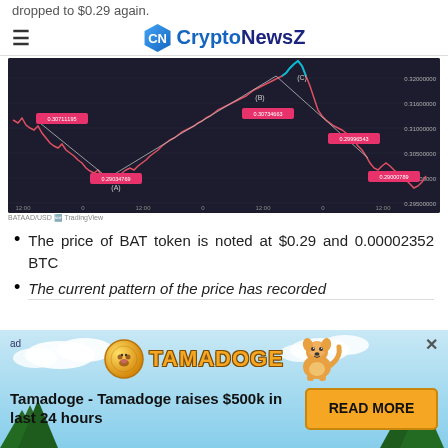dropped to $0.29 again.
CryptoNewsZ
[Figure (continuous-plot): Cryptocurrency price chart (BAT/USD) showing price movement with labeled points A, B, C and Elliott wave annotations. Price labels visible: 0.30711195, 0.29034769, 0.30734663, 0.29996543, 0.29000789. Dark background with red/teal candlestick line.]
The price of BAT token is noted at $0.29 and 0.00002352 BTC
The current pattern of the price has recorded